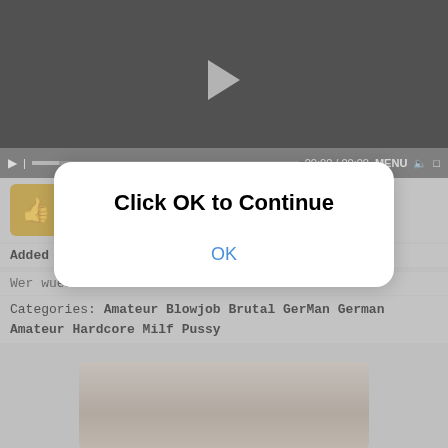[Figure (screenshot): Video player with black background and playback controls showing 00:00 / 00:00]
Likes 1   Dislikes 2
Added 1 year ago   Duration 21:16   Views 329
Wer wuerde Sabine ficken
Categories: Amateur Blowjob Brutal GerMan German Amateur Hardcore Milf Pussy
[Figure (photo): Thumbnail photo of a blonde woman]
Click OK to Continue
OK